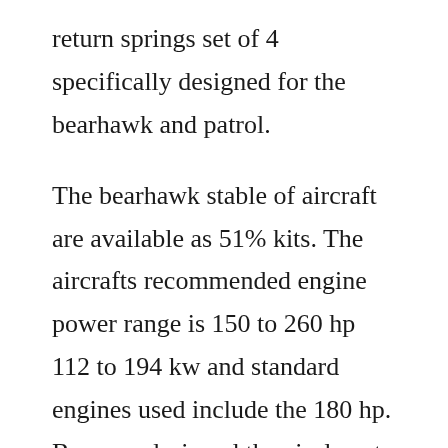return springs set of 4 specifically designed for the bearhawk and patrol.
The bearhawk stable of aircraft are available as 51% kits. The aircrafts recommended engine power range is 150 to 260 hp 112 to 194 kw and standard engines used include the 180 hp. Barrows designed the airplane to meet his personal transportation needs and replace a cessna 170 that he owned at the time. The cabin size of the bearhawk is comparable to a cessna 180. Bearhawk 4place wins the 2019 new zealand stol championship duration. The